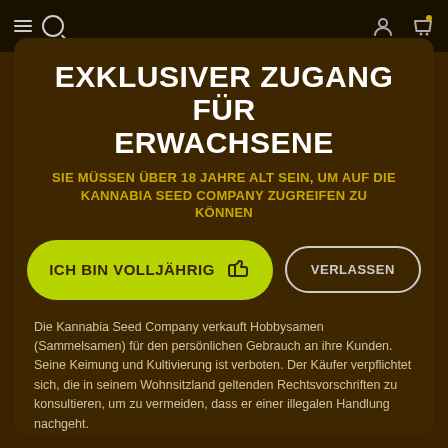EXKLUSIVER ZUGANG FÜR ERWACHSENE
SIE MÜSSEN ÜBER 18 JAHRE ALT SEIN, UM AUF DIE KANNABIA SEED COMPANY ZUGREIFEN ZU KÖNNEN
ICH BIN VOLLJÄHRIG | VERLASSEN
Die Kannabia Seed Company verkauft Hobbysamen (Sammelsamen) für den persönlichen Gebrauch an ihre Kunden. Seine Keimung und Kultivierung ist verboten. Der Käufer verpflichtet sich, die in seinem Wohnsitzland geltenden Rechtsvorschriften zu konsultieren, um zu vermeiden, dass er einer illegalen Handlung nachgeht.